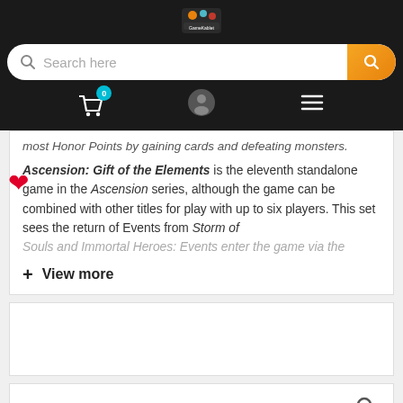GameKablet header with logo, search bar, cart, user icon, and hamburger menu
most Honor Points by gaining cards and defeating monsters.
Ascension: Gift of the Elements is the eleventh standalone game in the Ascension series, although the game can be combined with other titles for play with up to six players. This set sees the return of Events from Storm of Souls and Immortal Heroes: Events enter the game via the
+ View more
Payment & Security